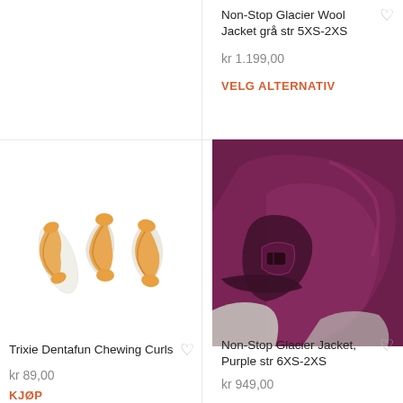Non-Stop Glacier Wool Jacket grå str 5XS-2XS
kr 1.199,00
VELG ALTERNATIV
[Figure (photo): Trixie Dentafun Chewing Curls dog treats — twisted rawhide chews on white background]
[Figure (photo): Non-Stop Glacier Jacket in purple/plum color, close-up of dog jacket showing fabric, buckle, and lining]
Trixie Dentafun Chewing Curls
kr 89,00
KJØP
Non-Stop Glacier Jacket, Purple str 6XS-2XS
kr 949,00